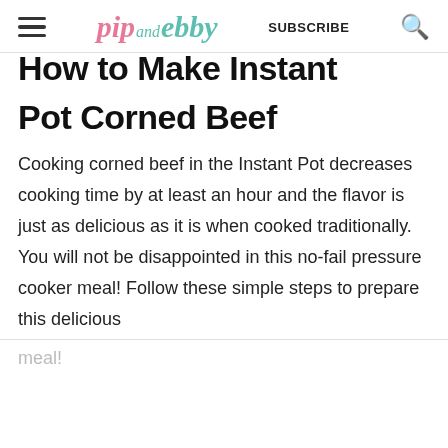pip and ebby — SUBSCRIBE
How to Make Instant Pot Corned Beef
Cooking corned beef in the Instant Pot decreases cooking time by at least an hour and the flavor is just as delicious as it is when cooked traditionally. You will not be disappointed in this no-fail pressure cooker meal! Follow these simple steps to prepare this delicious meal!